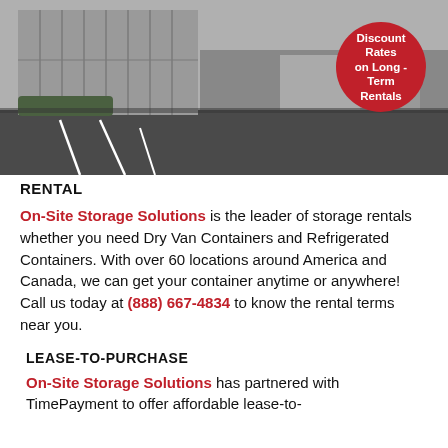[Figure (photo): Outdoor photo of a storage container facility showing rows of metal shipping containers in a parking lot. A red circular badge overlaid on the top right reads 'Discount Rates on Long - Term Rentals'.]
RENTAL
On-Site Storage Solutions is the leader of storage rentals whether you need Dry Van Containers and Refrigerated Containers. With over 60 locations around America and Canada, we can get your container anytime or anywhere! Call us today at (888) 667-4834 to know the rental terms near you.
LEASE-TO-PURCHASE
On-Site Storage Solutions has partnered with TimePayment to offer affordable lease-to-